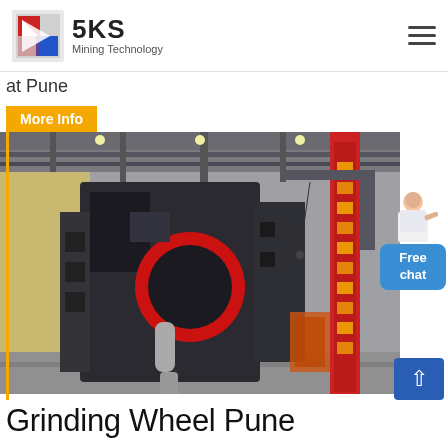SKS Mining Technology
at Pune
More Info
[Figure (photo): Industrial factory floor showing large mining grinding mill machinery with red accent ring, dark metal components, overhead cranes, piping systems and a red illuminated vertical sign on the right side of the building interior.]
Grinding Wheel Pune